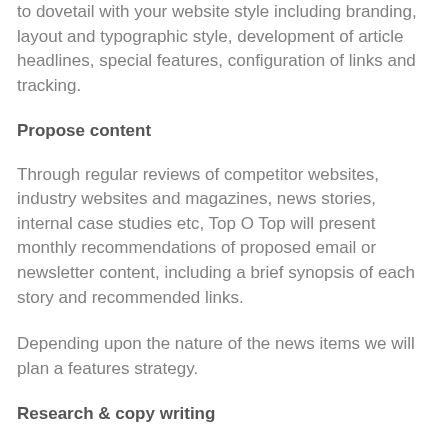to dovetail with your website style including branding, layout and typographic style, development of article headlines, special features, configuration of links and tracking.
Propose content
Through regular reviews of competitor websites, industry websites and magazines, news stories, internal case studies etc, Top O Top will present monthly recommendations of proposed email or newsletter content, including a brief synopsis of each story and recommended links.
Depending upon the nature of the news items we will plan a features strategy.
Research & copy writing